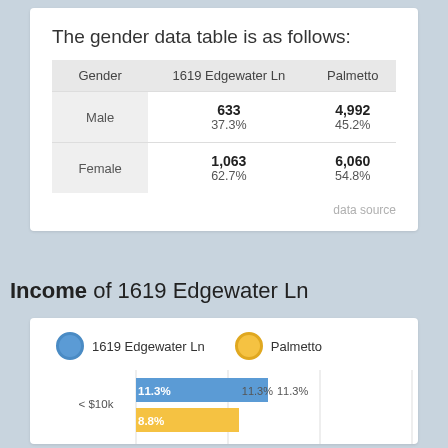The gender data table is as follows:
| Gender | 1619 Edgewater Ln | Palmetto |
| --- | --- | --- |
| Male | 633
37.3% | 4,992
45.2% |
| Female | 1,063
62.7% | 6,060
54.8% |
data source
Income of 1619 Edgewater Ln
[Figure (grouped-bar-chart): Income of 1619 Edgewater Ln]